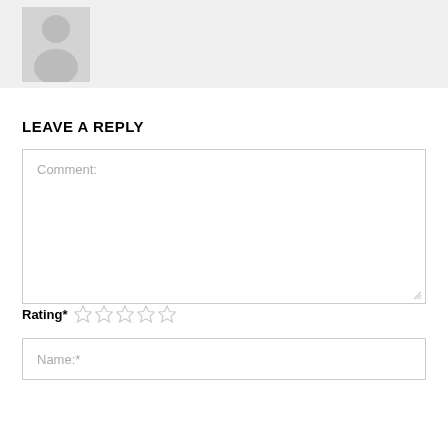[Figure (illustration): Gray avatar/profile placeholder image showing silhouette of a person on light gray background]
LEAVE A REPLY
Comment:
Rating* ☆ ☆ ☆ ☆ ☆
Name:*